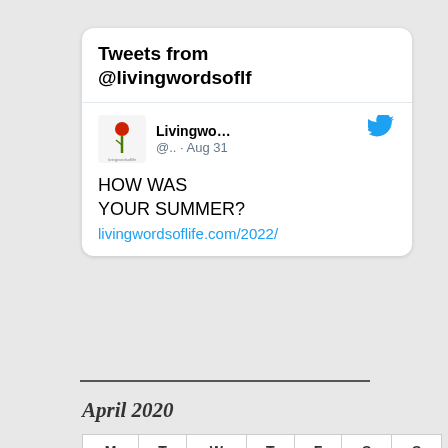[Figure (screenshot): Twitter widget card showing 'Tweets from @livingwordsoflf' header, with a tweet from 'Livingwo...' account @.. dated Aug 31 reading 'HOW WAS YOUR SUMMER?' with link livingwordsoflife.com/2022/]
April 2020
| M | T | W | T | F | S | S |
| --- | --- | --- | --- | --- | --- | --- |
|  | 1 | 2 | 3 | 4 | 5 |